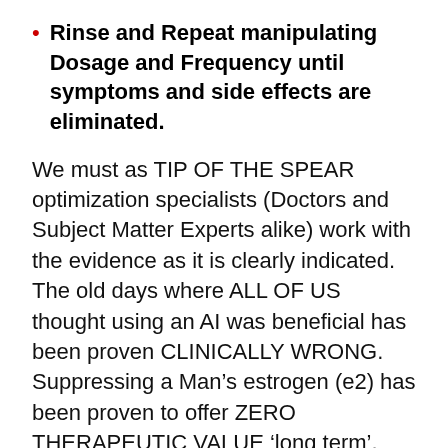Rinse and Repeat manipulating Dosage and Frequency until symptoms and side effects are eliminated.
We must as TIP OF THE SPEAR optimization specialists (Doctors and Subject Matter Experts alike) work with the evidence as it is clearly indicated. The old days where ALL OF US thought using an AI was beneficial has been proven CLINICALLY WRONG. Suppressing a Man’s estrogen (e2) has been proven to offer ZERO THERAPEUTIC VALUE ‘long term’. After nearly 80 years of giving men therapeutic testosterone, and seeing corresponding increases in their estrogen levels (e2), every single study that shows the benefit of